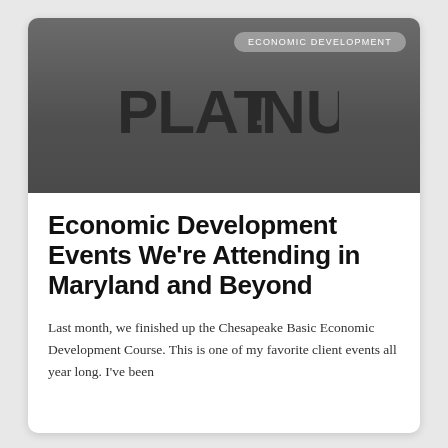ECONOMIC DEVELOPMENT
[Figure (logo): PLATINUM PR logo in bold condensed font with a speech bubble icon containing 'PR', displayed in dark charcoal color on a gray gradient background]
Economic Development Events We're Attending in Maryland and Beyond
Last month, we finished up the Chesapeake Basic Economic Development Course. This is one of my favorite client events all year long. I've been